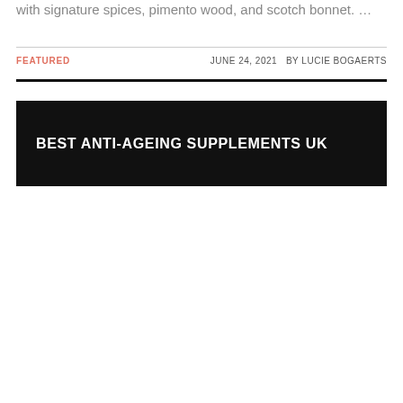with signature spices, pimento wood, and scotch bonnet. …
FEATURED   JUNE 24, 2021   BY LUCIE BOGAERTS
BEST ANTI-AGEING SUPPLEMENTS UK